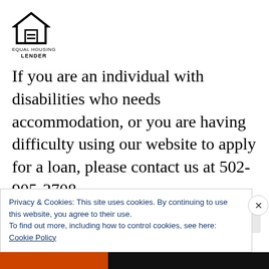[Figure (logo): Equal Housing Lender logo — house outline with equals sign, text EQUAL HOUSING LENDER below]
If you are an individual with disabilities who needs accommodation, or you are having difficulty using our website to apply for a loan, please contact us at 502-905-3708.
Disclaimer: No statement on this site is a commitment to make a loan. Loans are subject to borrower qualifications, including income
Privacy & Cookies: This site uses cookies. By continuing to use this website, you agree to their use.
To find out more, including how to control cookies, see here:
Cookie Policy
Close and accept